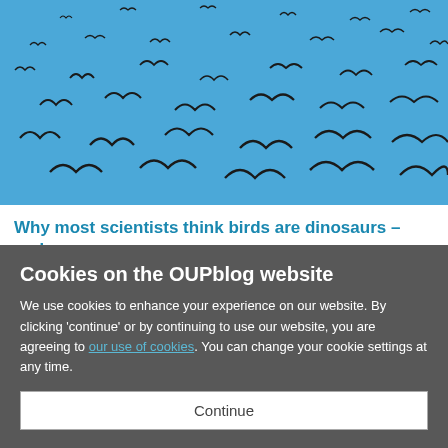[Figure (photo): Flock of birds (likely stilts or avocets) in flight against a bright blue sky, photographed from below]
Why most scientists think birds are dinosaurs – and you should too
Cookies on the OUPblog website
We use cookies to enhance your experience on our website. By clicking 'continue' or by continuing to use our website, you are agreeing to our use of cookies. You can change your cookie settings at any time.
Continue